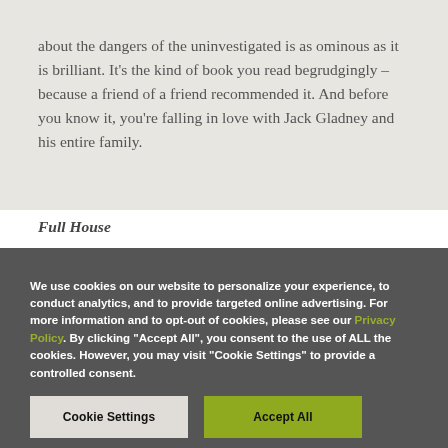about the dangers of the uninvestigated is as ominous as it is brilliant. It's the kind of book you read begrudgingly – because a friend of a friend recommended it. And before you know it, you're falling in love with Jack Gladney and his entire family.
Full House
We use cookies on our website to personalize your experience, to conduct analytics, and to provide targeted online advertising. For more information and to opt-out of cookies, please see our Privacy Policy. By clicking "Accept All", you consent to the use of ALL the cookies. However, you may visit "Cookie Settings" to provide a controlled consent.